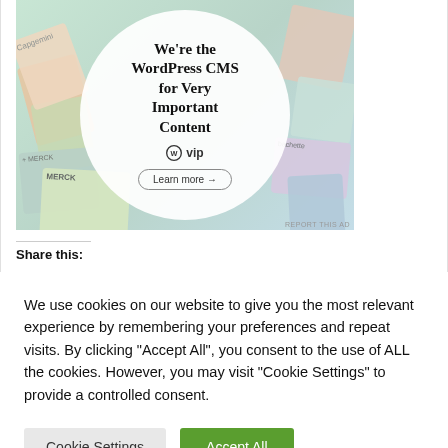[Figure (illustration): WordPress VIP advertisement showing a circular overlay on a collage of branded content/magazine tiles. The circle contains text 'We're the WordPress CMS for Very Important Content', the WordPress VIP logo, and a 'Learn more' button. Brands visible include Merck, Bachette, Capgemini. 'REPORT THIS AD' text appears bottom right.]
Share this:
We use cookies on our website to give you the most relevant experience by remembering your preferences and repeat visits. By clicking "Accept All", you consent to the use of ALL the cookies. However, you may visit "Cookie Settings" to provide a controlled consent.
Cookie Settings
Accept All